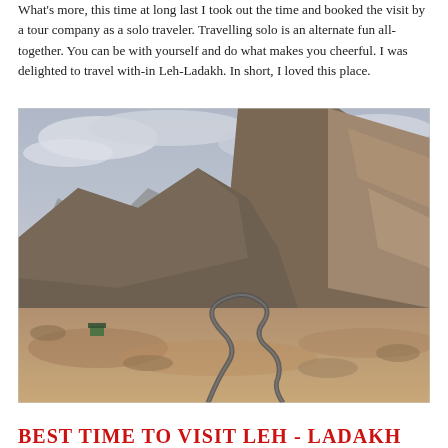What's more, this time at long last I took out the time and booked the visit by a tour company as a solo traveler. Travelling solo is an alternate fun all-together. You can be with yourself and do what makes you cheerful. I was delighted to travel with-in Leh-Ladakh. In short, I loved this place.
[Figure (photo): A winding mountain road through the arid, rugged terrain of Leh-Ladakh, India. The road curves dramatically through brown rocky mountains with a cloudy grey sky above. Sparse vegetation is visible on the hillsides.]
BEST TIME TO VISIT LEH - LADAKH